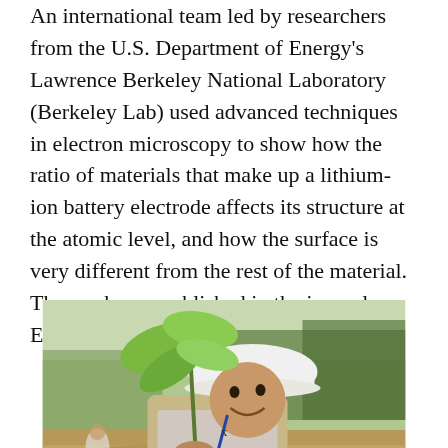An international team led by researchers from the U.S. Department of Energy's Lawrence Berkeley National Laboratory (Berkeley Lab) used advanced techniques in electron microscopy to show how the ratio of materials that make up a lithium-ion battery electrode affects its structure at the atomic level, and how the surface is very different from the rest of the material. The work was published in the journal Energy & Environmental Science.
[Figure (photo): A person wearing a white hard hat and vest kneels down holding a small green seedling plant with large leaves, in an outdoor setting with muddy ground and trees in the background.]
x